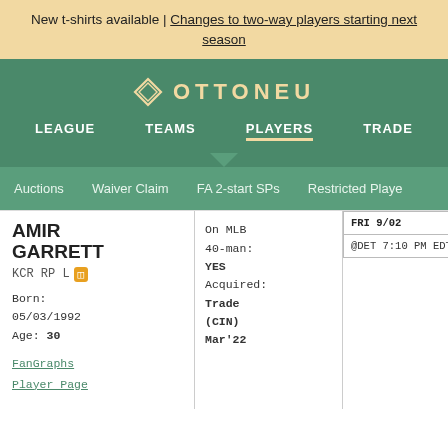New t-shirts available | Changes to two-way players starting next season
[Figure (logo): Ottoneu logo with diamond icon and text OTTONEU]
LEAGUE   TEAMS   PLAYERS   TRADE
Auctions   Waiver Claim   FA 2-start SPs   Restricted Players
AMIR GARRETT
KCR RP L
Born: 05/03/1992
Age: 30
On MLB 40-man: YES
Acquired: Trade (CIN) Mar'22
FanGraphs Player Page
| FRI 9/02 | SAT 9/03 | SUN 9/... |
| --- | --- | --- |
| @DET 7:10 PM EDT | @DET 6:10 PM EDT | @DET 1:... |